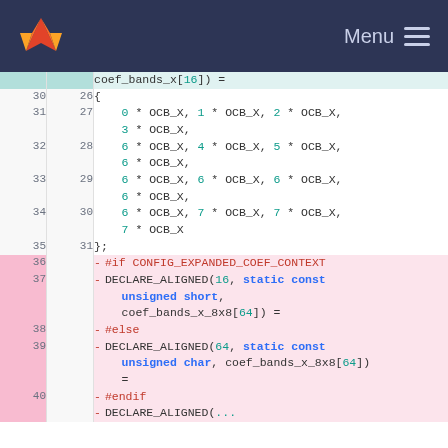Menu
Code diff view showing lines 30-40 of a C source file with coef_bands_x array declarations
| old ln | new ln | code |
| --- | --- | --- |
|  |  | coef_bands_x[16]) = |
| 30 | 26 | { |
| 31 | 27 |     0 * OCB_X,  1 * OCB_X,  2 * OCB_X,  3 * OCB_X, |
| 32 | 28 |     6 * OCB_X,  4 * OCB_X,  5 * OCB_X,  6 * OCB_X, |
| 33 | 29 |     6 * OCB_X,  6 * OCB_X,  6 * OCB_X,  6 * OCB_X, |
| 34 | 30 |     6 * OCB_X,  7 * OCB_X,  7 * OCB_X,  7 * OCB_X |
| 35 | 31 | }; |
| 36 |  | - #if CONFIG_EXPANDED_COEF_CONTEXT |
| 37 |  | - DECLARE_ALIGNED(16, static const unsigned short, coef_bands_x_8x8[64]) = |
| 38 |  | - #else |
| 39 |  | - DECLARE_ALIGNED(64, static const unsigned char, coef_bands_x_8x8[64]) = |
| 40 |  | - #endif |